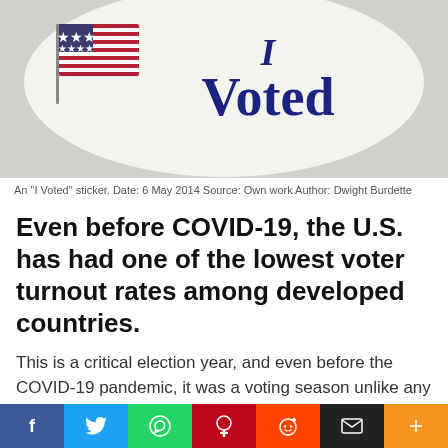[Figure (photo): An 'I Voted' sticker with American flag graphic. White oval sticker on light gray background.]
An "I Voted" sticker. Date: 6 May 2014 Source: Own work Author: Dwight Burdette
Even before COVID-19, the U.S. has had one of the lowest voter turnout rates among developed countries.
This is a critical election year, and even before the COVID-19 pandemic, it was a voting season unlike any before in the nation's history. Initially, voter turnout rates were projected to be high throughout
[Figure (infographic): Social media share bar with Facebook, Twitter, WhatsApp, Pinterest, Reddit, Email, and Plus buttons]